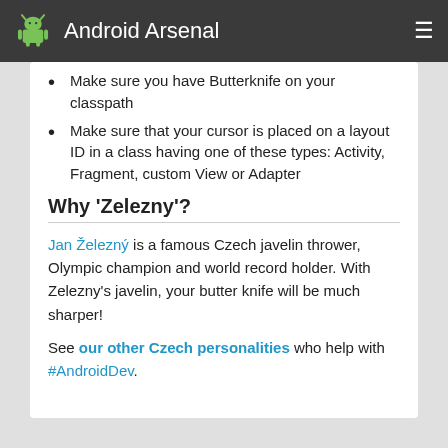Android Arsenal
Make sure you have Butterknife on your classpath
Make sure that your cursor is placed on a layout ID in a class having one of these types: Activity, Fragment, custom View or Adapter
Why 'Zelezny'?
Jan Železný is a famous Czech javelin thrower, Olympic champion and world record holder. With Zelezny's javelin, your butter knife will be much sharper!
See our other Czech personalities who help with #AndroidDev.